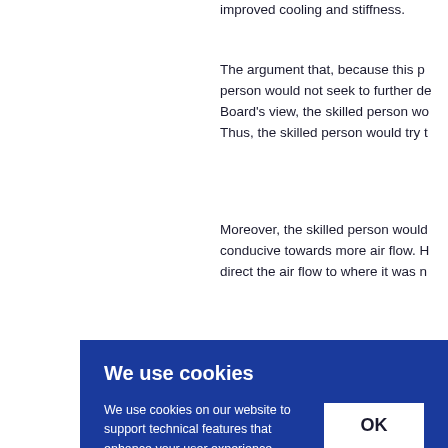improved cooling and stiffness.
The argument that, because this p... person would not seek to further de... Board's view, the skilled person wo... Thus, the skilled person would try t...
Moreover, the skilled person would... conducive towards more air flow. H... direct the air flow to where it was n...
[Figure (screenshot): Cookie consent overlay with blue background, title 'We use cookies', body text about cookies and analytics, an OK button, and a link 'Access full information on cookies that we use and how to manage them'.]
...r art d...